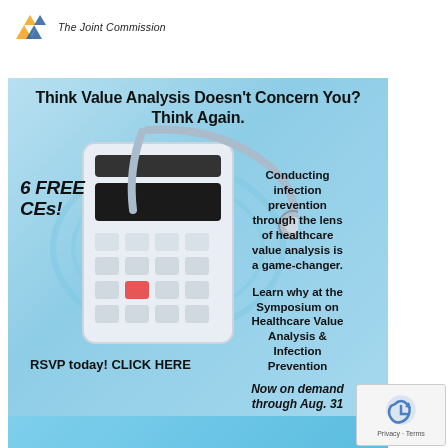[Figure (logo): The Joint Commission logo with gold and blue angular arrow icon and italic text 'The Joint Commission']
[Figure (infographic): Advertisement banner for Symposium on Healthcare Value Analysis & Infection Prevention. Blue background with calculator and stethoscope imagery. Text: 'Think Value Analysis Doesn't Concern You? Think Again.' '6 FREE CEs!' 'Conducting infection prevention through the lens of healthcare value analysis is a game-changer.' 'Learn why at the Symposium on Healthcare Value Analysis & Infection Prevention' 'RSVP today! CLICK HERE' 'Now on demand through Aug. 31']
[Figure (infographic): Partial view of a second blue banner at the bottom of the page]